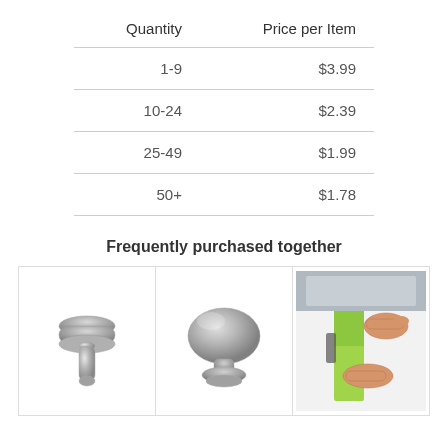| Quantity | Price per Item |
| --- | --- |
| 1-9 | $3.99 |
| 10-24 | $2.39 |
| 25-49 | $1.99 |
| 50+ | $1.78 |
Frequently purchased together
[Figure (photo): Three product images side by side: a brushed nickel T-bar cabinet pull handle, a brushed nickel round mushroom cabinet knob, and a photo of hands applying a green adhesive film to a white surface.]